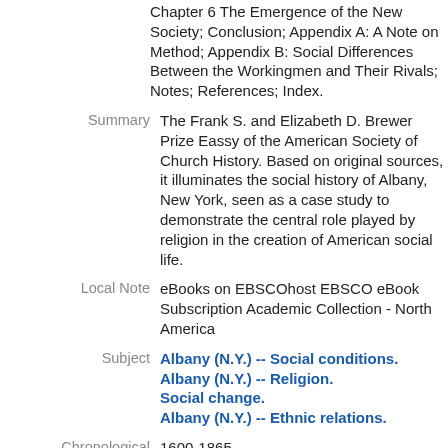Chapter 6 The Emergence of the New Society; Conclusion; Appendix A: A Note on Method; Appendix B: Social Differences Between the Workingmen and Their Rivals; Notes; References; Index.
Summary
The Frank S. and Elizabeth D. Brewer Prize Eassy of the American Society of Church History. Based on original sources, it illuminates the social history of Albany, New York, seen as a case study to demonstrate the central role played by religion in the creation of American social life.
Local Note
eBooks on EBSCOhost EBSCO eBook Subscription Academic Collection - North America
Subject
Albany (N.Y.) -- Social conditions.
Albany (N.Y.) -- Religion.
Social change.
Albany (N.Y.) -- Ethnic relations.
Chronological
1600-1865